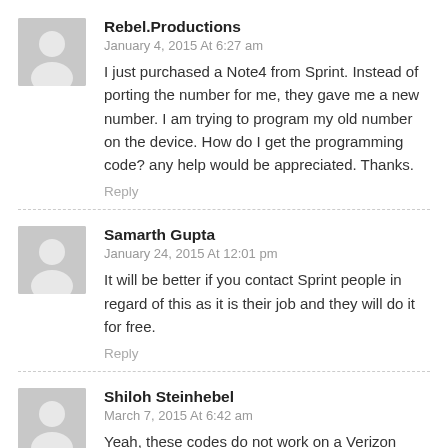Rebel.Productions
January 4, 2015 At 6:27 am
I just purchased a Note4 from Sprint. Instead of porting the number for me, they gave me a new number. I am trying to program my old number on the device. How do I get the programming code? any help would be appreciated. Thanks.
Reply
Samarth Gupta
January 24, 2015 At 12:01 pm
It will be better if you contact Sprint people in regard of this as it is their job and they will do it for free.
Reply
Shiloh Steinhebel
March 7, 2015 At 6:42 am
Yeah, these codes do not work on a Verizon Note